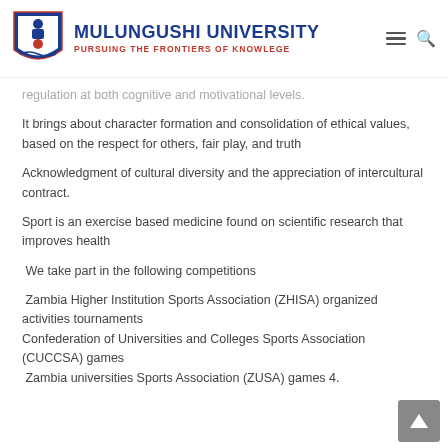MULUNGUSHI UNIVERSITY — PURSUING THE FRONTIERS OF KNOWLEGE
regulation at both cognitive and motivational levels.
It brings about character formation and consolidation of ethical values, based on the respect for others, fair play, and truth
Acknowledgment of cultural diversity and the appreciation of intercultural contract.
Sport is an exercise based medicine found on scientific research that improves health
We take part in the following competitions
Zambia Higher Institution Sports Association (ZHISA) organized activities tournaments
Confederation of Universities and Colleges Sports Association (CUCCSA) games
Zambia universities Sports Association (ZUSA) games 4.